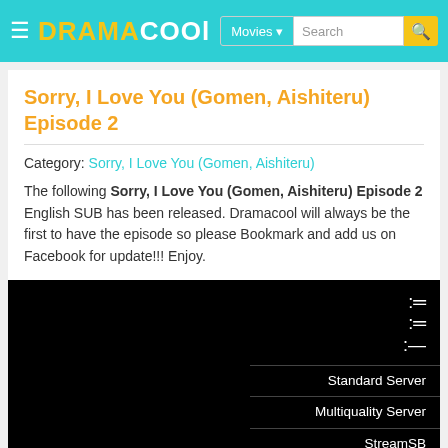DRAMACOOL — Movies | Search
Sorry, I Love You (Gomen, Aishiteru) Episode 2
Category: Sorry, I Love You (Gomen, Aishiteru)
The following Sorry, I Love You (Gomen, Aishiteru) Episode 2 English SUB has been released. Dramacool will always be the first to have the episode so please Bookmark and add us on Facebook for update!!! Enjoy.
[Figure (screenshot): Video player area (black) with server selection menu on the right listing: Standard Server, Multiquality Server, StreamSB, Doodstream, Mixdrop, Xstreamcdn, Mp4upload]